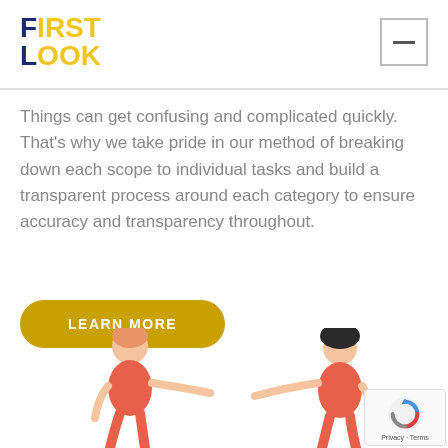FIRST LOOK
Things can get confusing and complicated quickly. That's why we take pride in our method of breaking down each scope to individual tasks and build a transparent process around each category to ensure accuracy and transparency throughout.
LEARN MORE
[Figure (illustration): Two illustrated people (cartoon style) in conversation poses, one with orange/red outfit on the left, one with dark hair and red outfit on the right.]
[Figure (logo): reCAPTCHA logo with Privacy and Terms text]